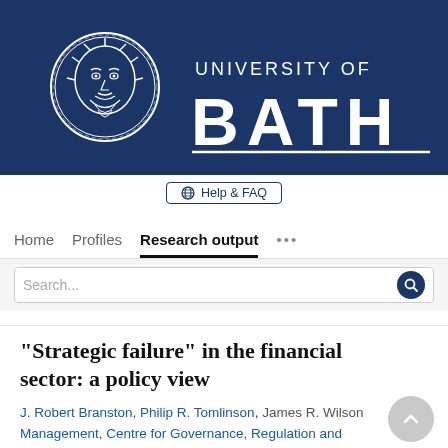[Figure (logo): University of Bath logo — circular emblem with classical face motif on left, text 'UNIVERSITY OF BATH' on right, white on dark navy blue background]
Help & FAQ
Home   Profiles   Research output   ...
Search...
"Strategic failure" in the financial sector: a policy view
J. Robert Branston, Philip R. Tomlinson, James R. Wilson
Management, Centre for Governance, Regulation and